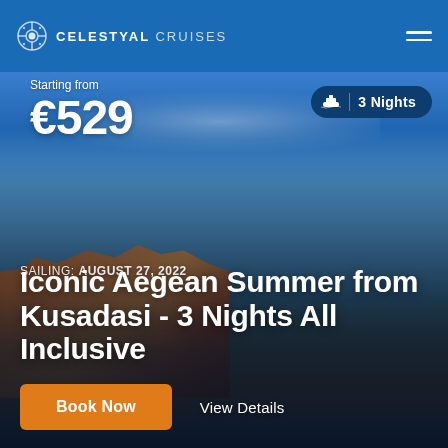CELESTYAL CRUISES
Starting from
€529
3 Nights
SAILING: AUGUST 27, 2022
Iconic Aegean Summer from Kusadasi - 3 Nights All Inclusive
Book Now
View Details